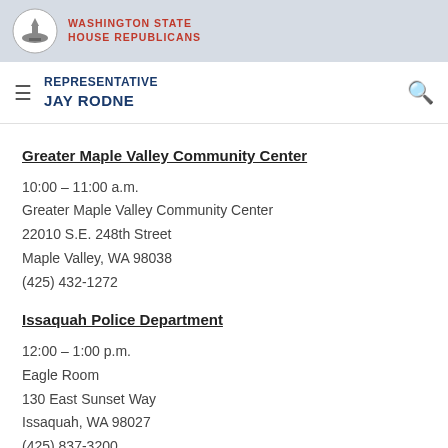WASHINGTON STATE HOUSE REPUBLICANS
REPRESENTATIVE JAY RODNE
Greater Maple Valley Community Center
10:00 – 11:00 a.m.
Greater Maple Valley Community Center
22010 S.E. 248th Street
Maple Valley, WA 98038
(425) 432-1272
Issaquah Police Department
12:00 – 1:00 p.m.
Eagle Room
130 East Sunset Way
Issaquah, WA 98027
(425) 837-3200